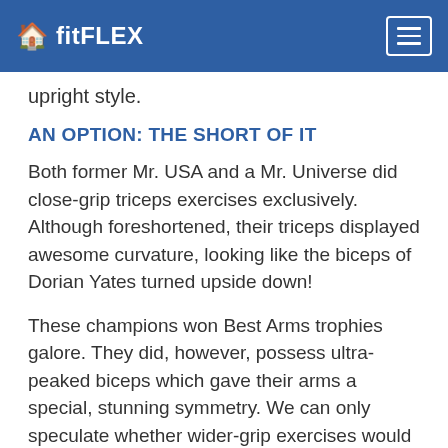fitFLEX
upright style.
AN OPTION: THE SHORT OF IT
Both former Mr. USA and a Mr. Universe did close-grip triceps exercises exclusively. Although foreshortened, their triceps displayed awesome curvature, looking like the biceps of Dorian Yates turned upside down!
These champions won Best Arms trophies galore. They did, however, possess ultra-peaked biceps which gave their arms a special, stunning symmetry. We can only speculate whether wider-grip exercises would have brought different results.
If you're positive your triceps insertions are high, and